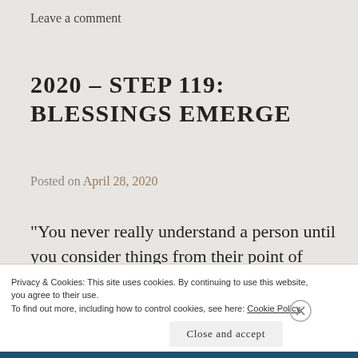Leave a comment
2020 – STEP 119: BLESSINGS EMERGE
Posted on April 28, 2020
"You never really understand a person until you consider things from their point of view."  ~Atticus Finch (To Kill A
Privacy & Cookies: This site uses cookies. By continuing to use this website, you agree to their use.
To find out more, including how to control cookies, see here: Cookie Policy
Close and accept